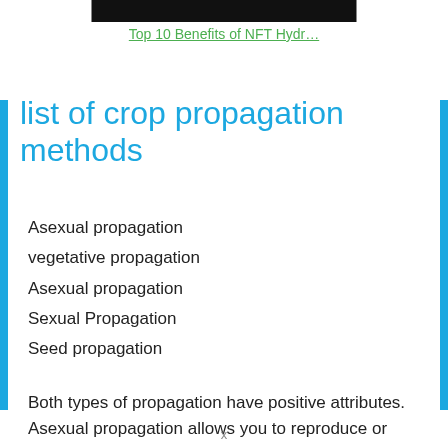Top 10 Benefits of NFT Hydr…
list of crop propagation methods
Asexual propagation
vegetative propagation
Asexual propagation
Sexual Propagation
Seed propagation
Both types of propagation have positive attributes. Asexual propagation allows you to reproduce or clone the parent plant exactly. This is especially useful when the parent plant has